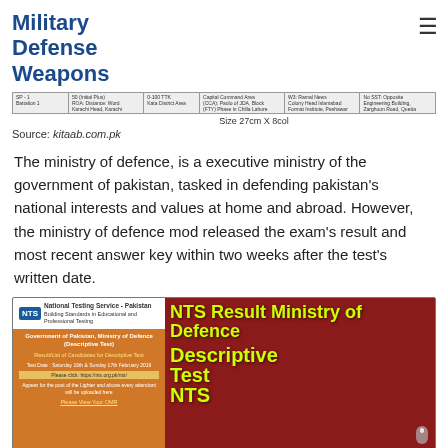Military Defense Weapons
[Figure (table-as-image): Partial view of a document table with columns for sector, location, and other fields. Size 27cm X 8col noted below.]
Source: kitaab.com.pk
The ministry of defence, is a executive ministry of the government of pakistan, tasked in defending pakistan's national interests and values at home and abroad. However, the ministry of defence mod released the exam's result and most recent answer key within two weeks after the test's written date.
[Figure (infographic): NTS Result Ministry of Defence Descriptive Test NTS promotional banner. Dark red background with yellow-green bold text. Left side shows NTS logo and a form for Government of Pakistan Ministry of Defence Descriptive Test with candidate list and test dates Saturday 16th & Sunday 17th February 2019.]